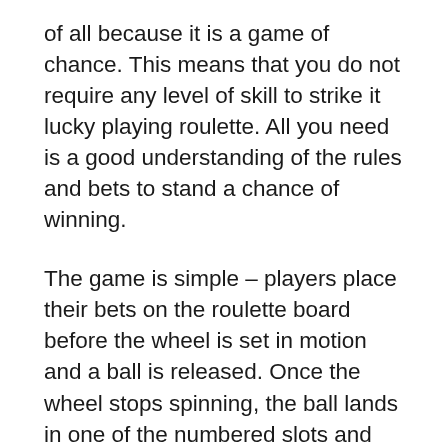of all because it is a game of chance. This means that you do not require any level of skill to strike it lucky playing roulette. All you need is a good understanding of the rules and bets to stand a chance of winning.
The game is simple – players place their bets on the roulette board before the wheel is set in motion and a ball is released. Once the wheel stops spinning, the ball lands in one of the numbered slots and whoever correctly predicted the result wins. There are many variants of Roulette available to play online and on mobile devices, including American Roulette, French Roulette, European Roulette, 3D Roulette, Multi-Ball Roulette, Multi-Wheel Roulette and Multiplayer Roulette.